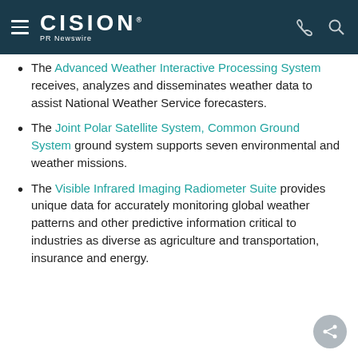CISION PR Newswire
The Advanced Weather Interactive Processing System receives, analyzes and disseminates weather data to assist National Weather Service forecasters.
The Joint Polar Satellite System, Common Ground System ground system supports seven environmental and weather missions.
The Visible Infrared Imaging Radiometer Suite provides unique data for accurately monitoring global weather patterns and other predictive information critical to industries as diverse as agriculture and transportation, insurance and energy.